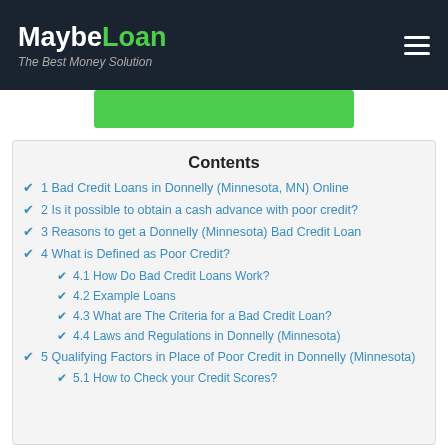MaybeLoan - The Best Money Solution
Contents
1 Bad Credit Loans in Donnelly (Minnesota, MN) Online
2 Is it possible to obtain a cash advance with poor credit?
3 Reasons to get a Donnelly (Minnesota) Bad Credit Loan
4 What is Defined as Poor Credit?
4.1 How Do Bad Credit Loans Work?
4.2 Example Loans
4.3 What are The Criteria for a Bad Credit Loan?
4.4 Laws and Regulations in Donnelly (Minnesota)
5 Qualifying Factors in Place of Poor Credit in Donnelly (Minnesota)
5.1 How to Check your Credit Scores?